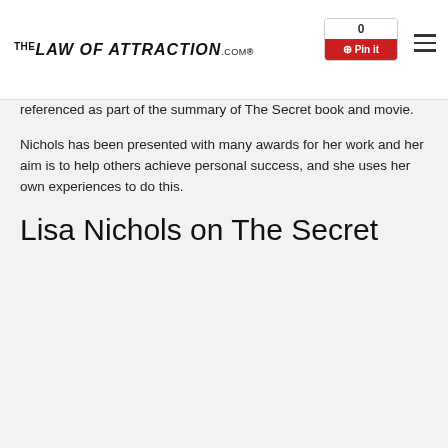TheLawOfAttraction.com®
referenced as part of the summary of The Secret book and movie.
Nichols has been presented with many awards for her work and her aim is to help others achieve personal success, and she uses her own experiences to do this.
Lisa Nichols on The Secret